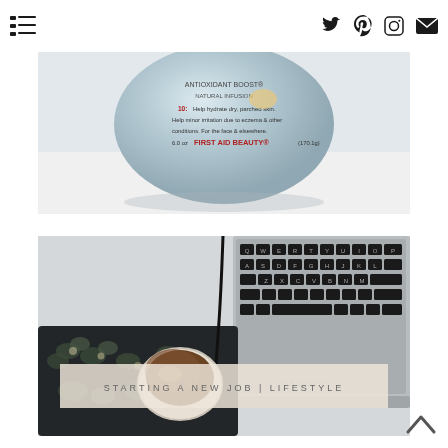Navigation menu | Twitter | Pinterest | Instagram | Email
[Figure (photo): Close-up of a First Aid Beauty cream jar on white fabric background. Label reads: ANTIOXIDANT BOOST, NATURAL INFUSION, Help hydrate dry, parched skin. Help minor irritation due to eczema & other conditions. For the face & elsewhere. 6.0 oz FIRST AID BEAUTY (170.1g)]
[Figure (photo): Overhead view of a laptop with dark keyboard, a white mug of espresso/coffee on a dark floral fabric/case, a cable running across a white desk surface. Overlaid text reads: STARTING A NEW JOB | LIFESTYLE]
STARTING A NEW JOB | LIFESTYLE